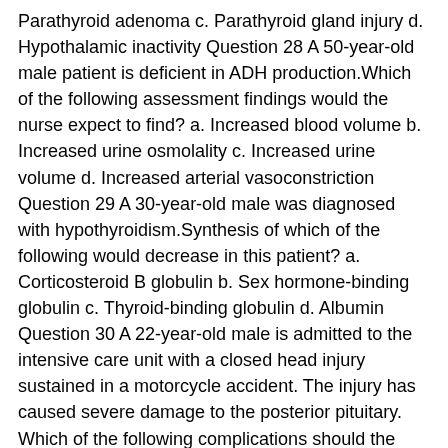Parathyroid adenoma c. Parathyroid gland injury d. Hypothalamic inactivity Question 28 A 50-year-old male patient is deficient in ADH production.Which of the following assessment findings would the nurse expect to find? a. Increased blood volume b. Increased urine osmolality c. Increased urine volume d. Increased arterial vasoconstriction Question 29 A 30-year-old male was diagnosed with hypothyroidism.Synthesis of which of the following would decrease in this patient? a. Corticosteroid B globulin b. Sex hormone-binding globulin c. Thyroid-binding globulin d. Albumin Question 30 A 22-year-old male is admitted to the intensive care unit with a closed head injury sustained in a motorcycle accident. The injury has caused severe damage to the posterior pituitary. Which of the following complications should the nurse anticipate? a. Dilutional hyponatremia b. Dehydration from polyuria c. Cardiac arrest from hyperkalemia d. Metabolic acidosis Question 31 A patient has high levels of hormones. To adapt to the high hormone concentrations, the patient's target cells